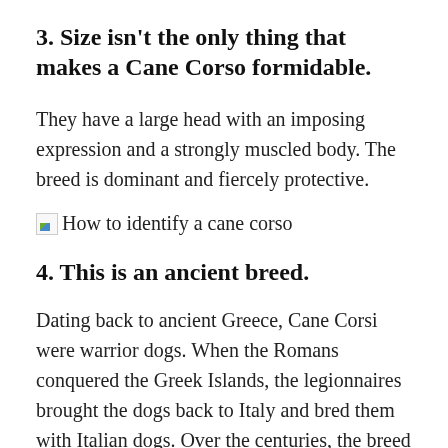3. Size isn't the only thing that makes a Cane Corso formidable.
They have a large head with an imposing expression and a strongly muscled body. The breed is dominant and fiercely protective.
[Figure (photo): Broken image placeholder with alt text: How to identify a cane corso]
4. This is an ancient breed.
Dating back to ancient Greece, Cane Corsi were warrior dogs. When the Romans conquered the Greek Islands, the legionnaires brought the dogs back to Italy and bred them with Italian dogs. Over the centuries, the breed became…